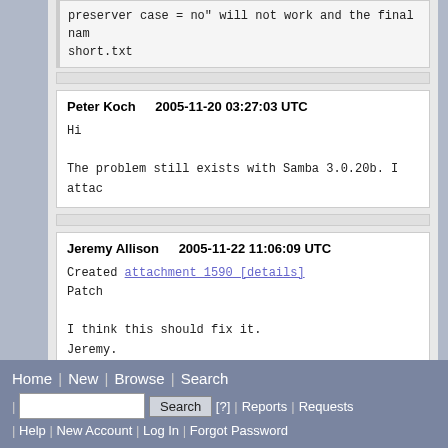preserver case = no" will not work and the final nam
short.txt
Peter Koch    2005-11-20 03:27:03 UTC

Hi

The problem still exists with Samba 3.0.20b. I attac
Jeremy Allison    2005-11-22 11:06:09 UTC

Created attachment 1590 [details]
Patch

I think this should fix it.
Jeremy.
Format For Printing - XML - Clone This Bug - Top of page
Home | New | Browse | Search | Search [?] | Reports | Requests | Help | New Account | Log In | Forgot Password